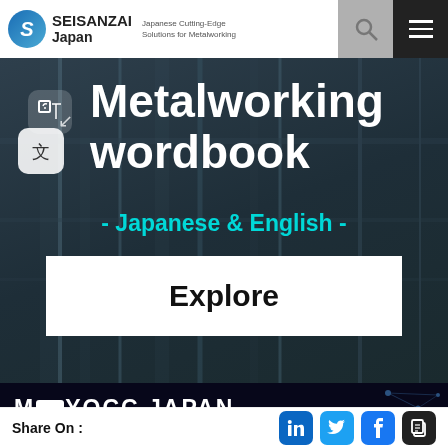SEISANZAI Japan — Japanese Cutting-Edge Solutions for Metalworking
[Figure (screenshot): Hero banner with industrial metalworking background showing 'Metalworking wordbook' title in white bold text, '- Japanese & English -' subtitle in cyan/teal, and an Explore button on white background. Translation icons visible on left.]
[Figure (screenshot): Dark banner with 'MLYOROCC JAPAN' text and network/node graphic on right side.]
Share On :
[Figure (infographic): Social media share icons: LinkedIn (blue), Twitter (light blue), Facebook (blue), Copy link (dark/black)]